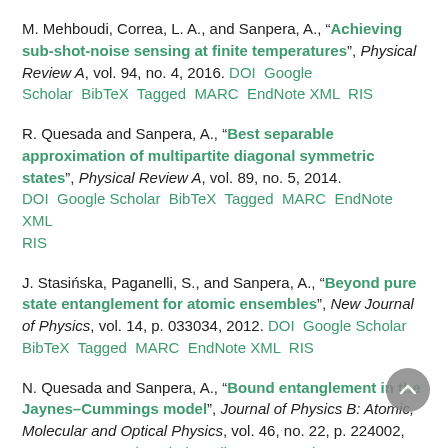M. Mehboudi, Correa, L. A., and Sanpera, A., "Achieving sub-shot-noise sensing at finite temperatures", Physical Review A, vol. 94, no. 4, 2016. DOI Google Scholar BibTeX Tagged MARC EndNote XML RIS
R. Quesada and Sanpera, A., "Best separable approximation of multipartite diagonal symmetric states", Physical Review A, vol. 89, no. 5, 2014. DOI Google Scholar BibTeX Tagged MARC EndNote XML RIS
J. Stasińska, Paganelli, S., and Sanpera, A., "Beyond pure state entanglement for atomic ensembles", New Journal of Physics, vol. 14, p. 033034, 2012. DOI Google Scholar BibTeX Tagged MARC EndNote XML RIS
N. Quesada and Sanpera, A., "Bound entanglement in the Jaynes–Cummings model", Journal of Physics B: Atomic, Molecular and Optical Physics, vol. 46, no. 22, p. 224002, 2013. DOI Google Scholar BibTeX Tagged MARC EndNote XML RIS